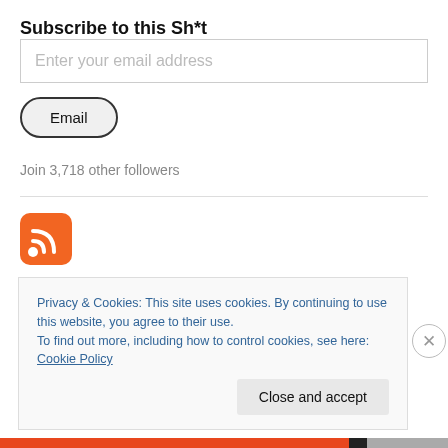Subscribe to this Sh*t
Enter your email address
Email
Join 3,718 other followers
[Figure (logo): RSS feed icon: orange rounded square with white RSS signal symbol]
Privacy & Cookies: This site uses cookies. By continuing to use this website, you agree to their use. To find out more, including how to control cookies, see here: Cookie Policy
Close and accept